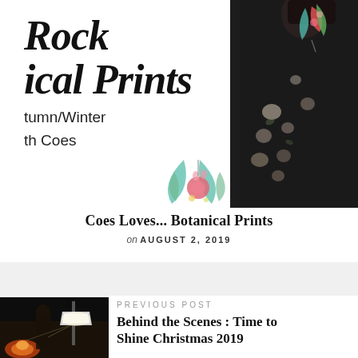[Figure (illustration): Blog post hero image showing botanical/floral prints for Autumn/Winter with text overlay 'Rock ical Prints tumn/Winter th Coes' and a fashion photo of a woman in a dark floral jacket on the right, with botanical leaf illustrations top-right and bottom-center]
Coes Loves... Botanical Prints
on AUGUST 2, 2019
PREVIOUS POST
[Figure (photo): Thumbnail photo showing behind the scenes photography setup with lights and camera equipment in a dark setting]
Behind the Scenes : Time to Shine Christmas 2019